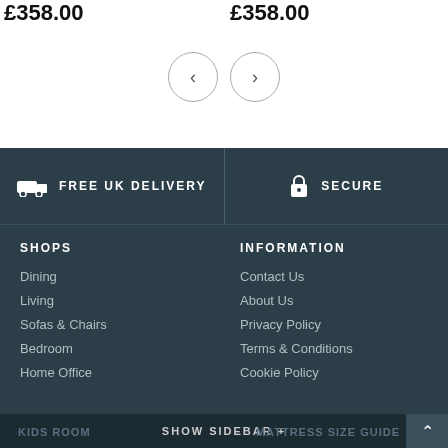£358.00
£358.00
[Figure (other): Navigation previous and next arrow buttons (circular outline)]
FREE UK DELIVERY
SECURE
SHOPS
INFORMATION
Dining
Contact Us
Living
About Us
Sofas & Chairs
Privacy Policy
Bedroom
Terms & Conditions
Home Office
Cookie Policy
Kids Room
Mattress Size Guide
SHOW SIDEBAR +